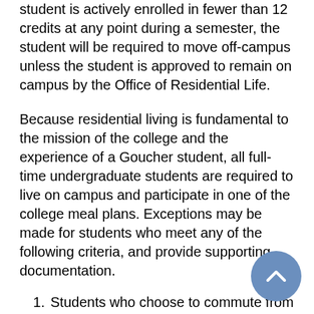student is actively enrolled in fewer than 12 credits at any point during a semester, the student will be required to move off-campus unless the student is approved to remain on campus by the Office of Residential Life.
Because residential living is fundamental to the mission of the college and the experience of a Goucher student, all full-time undergraduate students are required to live on campus and participate in one of the college meal plans. Exceptions may be made for students who meet any of the following criteria, and provide supporting documentation.
Students who choose to commute from their permanent home address within 30 miles of Goucher's campus, and are residing with an immediate family member. The Office of Residential Life defines "immediate family...